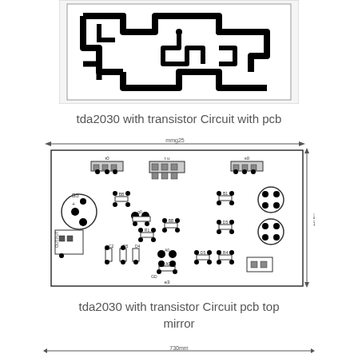[Figure (circuit-diagram): PCB copper trace layout for tda2030 with transistor circuit, showing black traces on white background (top/bottom layer view)]
tda2030 with transistor Circuit with pcb
[Figure (circuit-diagram): tda2030 with transistor circuit PCB component placement top mirror view, showing connectors, capacitors, resistors, transistors with dimension arrows indicating width (mmg25) and height (mm4). Components labeled: B5, C5, C2, D5, D4, R4, R1, R3, OUTPUT, GD, B0, etc.]
tda2030 with transistor Circuit pcb top mirror
[Figure (circuit-diagram): Partial PCB layout view at bottom of page with dimension arrow showing 730mm width]